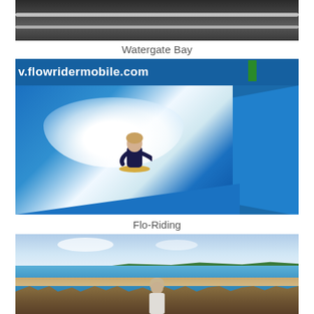[Figure (photo): Partial photo showing dark metal rails or bars against a grey background, cropped at top of page]
Watergate Bay
[Figure (photo): Photo of a flowrider wave machine attraction at Watergate Bay. A person is bodyboarding on an artificial wave. Blue ramps and a banner reading 'www.flowridermobile.com' are visible in the background.]
Flo-Riding
[Figure (photo): Photo of a coastal bay scene with blue sky, green hills, sandy beach, blue water, and reed grass in the foreground. A person is seen from behind looking out over the bay.]